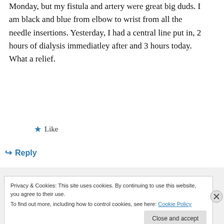Monday, but my fistula and artery were great big duds. I am black and blue from elbow to wrist from all the needle insertions. Yesterday, I had a central line put in, 2 hours of dialysis immediatley after and 3 hours today. What a relief.
★ Like
↳ Reply
Privacy & Cookies: This site uses cookies. By continuing to use this website, you agree to their use.
To find out more, including how to control cookies, see here: Cookie Policy
Close and accept